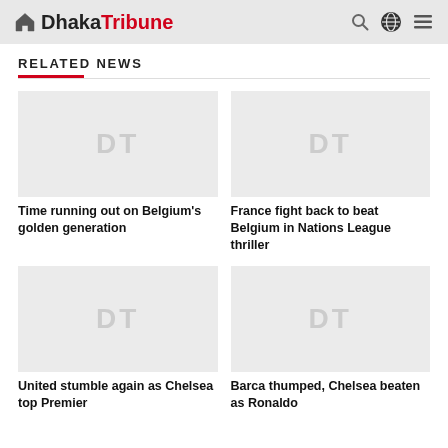Dhaka Tribune
RELATED NEWS
[Figure (photo): Placeholder image with DT watermark for article: Time running out on Belgium's golden generation]
Time running out on Belgium's golden generation
[Figure (photo): Placeholder image with DT watermark for article: France fight back to beat Belgium in Nations League thriller]
France fight back to beat Belgium in Nations League thriller
[Figure (photo): Placeholder image with DT watermark for article: United stumble again as Chelsea top Premier]
United stumble again as Chelsea top Premier
[Figure (photo): Placeholder image with DT watermark for article: Barca thumped, Chelsea beaten as Ronaldo]
Barca thumped, Chelsea beaten as Ronaldo